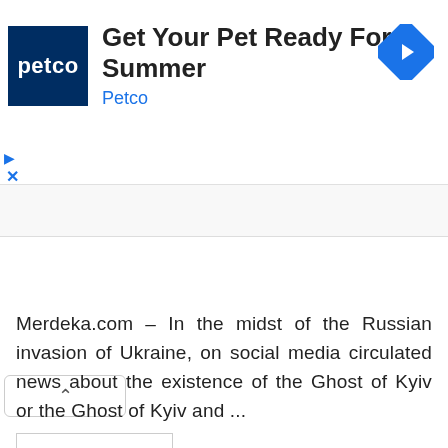[Figure (other): Petco advertisement banner with Petco logo (white text on dark blue square), headline 'Get Your Pet Ready For Summer', brand name 'Petco' in blue, and a blue diamond-shaped navigation arrow icon on the right.]
[Figure (other): Collapse/minimize button (white rounded rectangle with upward chevron caret symbol) on a light gray bar.]
Merdeka.com – In the midst of the Russian invasion of Ukraine, on social media circulated news about the existence of the Ghost of Kyiv or the Ghost of Kyiv and ...